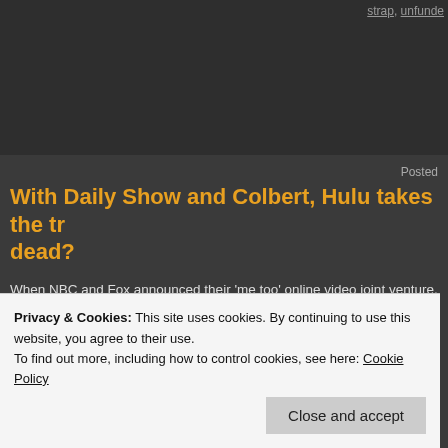strap, unfunde
Posted
With Daily Show and Colbert, Hulu takes the tr dead?
When NBC and Fox announced their 'me too' online video joint venture, understandably skeptical. After all, Joost had already launched to much partners like Viacom's MTV and Turner's Cartoon Network. YouTube ha
Continue reading →
Posted in internets, media | Tagged bay, bit, bittorrent, cartoon, colbert, da
downloading, fox, hulu, hulu-porn, illegal, joost, networks, office
Privacy & Cookies: This site uses cookies. By continuing to use this website, you agree to their use.
To find out more, including how to control cookies, see here: Cookie Policy
Close and accept